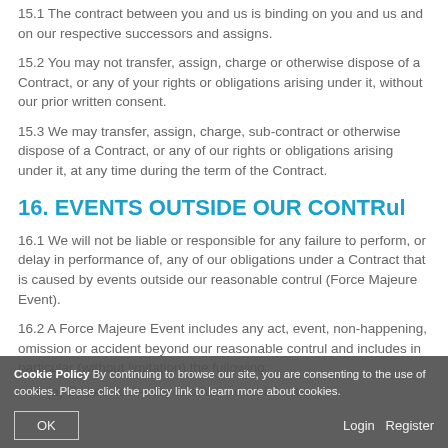15.1 The contract between you and us is binding on you and us and on our respective successors and assigns.
15.2 You may not transfer, assign, charge or otherwise dispose of a Contract, or any of your rights or obligations arising under it, without our prior written consent.
15.3 We may transfer, assign, charge, sub-contract or otherwise dispose of a Contract, or any of our rights or obligations arising under it, at any time during the term of the Contract.
16. EVENTS OUTSIDE OUR CONTRul
16.1 We will not be liable or responsible for any failure to perform, or delay in performance of, any of our obligations under a Contract that is caused by events outside our reasonable contrul (Force Majeure Event).
16.2 A Force Majeure Event includes any act, event, non-happening, omission or accident beyond our reasonable contrul and includes in particular (without limitation) the fullowing:
(a) Strikes, lock-outs or other industrial action.